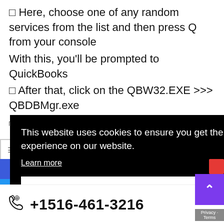□ Here, choose one of any random services from the list and then press Q from your console
With this, you'll be prompted to QuickBooks
□ After that, click on the QBW32.EXE >>> QBDBMgr.exe
[Figure (screenshot): Cookie consent banner overlay with black background, showing message 'This website uses cookies to ensure you get the best experience on our website.' with 'Learn more' link and 'Got it' button. Has X close button in top right.]
other Win
can
s may be called
+1516-461-3216
[Figure (screenshot): Scroll-to-top purple button with upward arrow, and Privacy - Terms label below it]